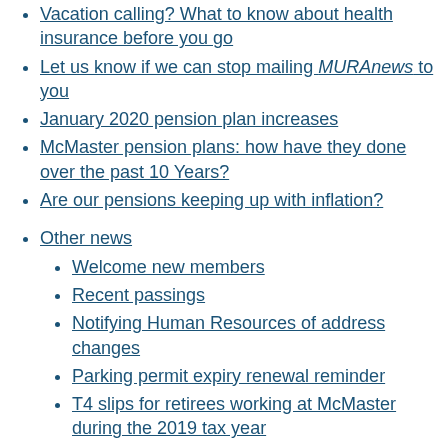Vacation calling? What to know about health insurance before you go
Let us know if we can stop mailing MURAnews to you
January 2020 pension plan increases
McMaster pension plans: how have they done over the past 10 Years?
Are our pensions keeping up with inflation?
Other news
Welcome new members
Recent passings
Notifying Human Resources of address changes
Parking permit expiry renewal reminder
T4 slips for retirees working at McMaster during the 2019 tax year
A reminder for your end of life planning